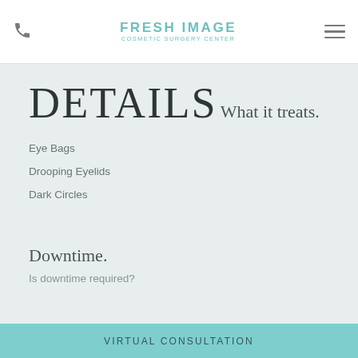FRESH IMAGE COSMETIC SURGERY CENTER
DETAILS
What it treats.
Eye Bags
Drooping Eyelids
Dark Circles
Downtime.
Is downtime required?
VIRTUAL CONSULTATION